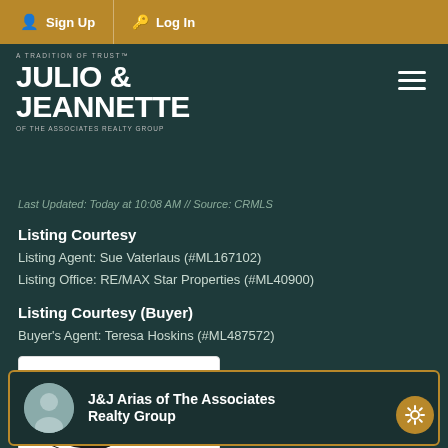Sign Up | Log In
[Figure (logo): Julio & Jeannette of The Associates Realty Group logo with tagline 'A Tradition of Trust']
Last Updated: Today at 10:08 AM // Source: CRMLS
Listing Courtesy
Listing Agent: Sue Vaterlaus (#ML167102)
Listing Office: RE/MAX Star Properties (#ML40900)
Listing Courtesy (Buyer)
Buyer's Agent: Teresa Hoskins (#ML487572)
[Figure (logo): CRMLS - California Regional Multiple Listing Service, Inc. logo]
J&J Arias of The Associates Realty Group